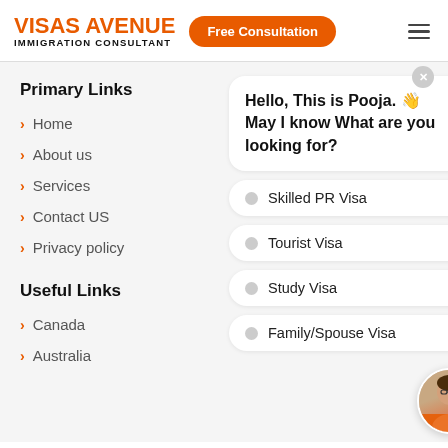VISAS AVENUE IMMIGRATION CONSULTANT | Free Consultation
Primary Links
> Home
> About us
> Services
> Contact US
> Privacy policy
Useful Links
> Canada
> Australia
Hello, This is Pooja. 👋 May I know What are you looking for?
Skilled PR Visa
Tourist Visa
Study Visa
Family/Spouse Visa
[Figure (photo): Avatar photo of Pooja, an immigration consultant, with orange and green accent colors]